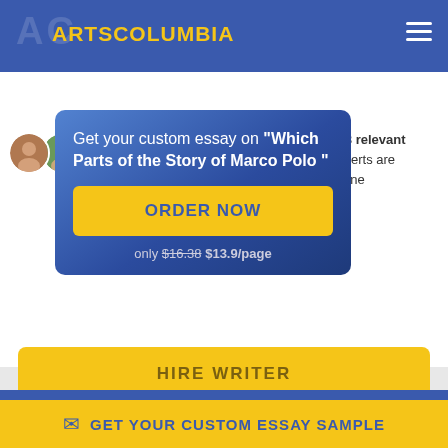ARTSCOLUMBIA
[Figure (infographic): Modal card with gradient blue background showing custom essay prompt for 'Which Parts of the Story of Marco Polo', ORDER NOW button in yellow, and price text 'only $16.38 $13.9/page']
+98 relevant experts are online
HIRE WRITER
We use cookies to give you the best experience possible. By continuing we'll assume you're on board with our cookie policy
After people traveled to China in modern times, people started to believe Marco Polo was a real person because China looked exactly as how Marco Polo
GET YOUR CUSTOM ESSAY SAMPLE